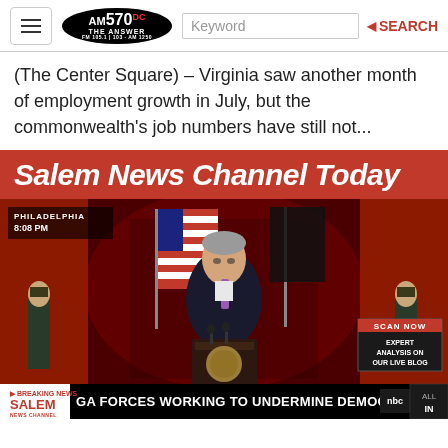AM 570 DC THE ANSWER | Keyword | SEARCH
(The Center Square) – Virginia saw another month of employment growth in July, but the commonwealth's job numbers have still not...
Salem News Channel Today
[Figure (screenshot): Screenshot of a news broadcast showing a man speaking at a podium with American flags behind him, in front of a red-lit brick building. Breaking news chyron at bottom reads 'GA FORCES WORKING TO UNDERMINE DEMOCRACY'. Salem News Channel branding visible. PHILADELPHIA 8:08 PM timestamp shown. Scan Now box in lower right corner.]